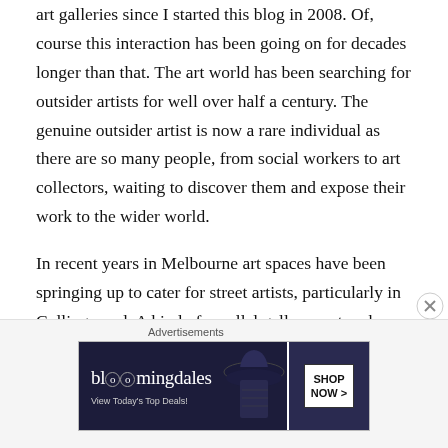I've been watching the interaction between street art and art galleries since I started this blog in 2008. Of, course this interaction has been going on for decades longer than that. The art world has been searching for outsider artists for well over half a century. The genuine outsider artist is now a rare individual as there are so many people, from social workers to art collectors, waiting to discover them and expose their work to the wider world.
In recent years in Melbourne art spaces have been springing up to cater for street artists, particularly in Collingwood. A kind of parallel gallery system has emerged but these are not the kind of art spaces who will be representing artists at an art fair.
Advertisements
[Figure (other): Bloomingdales advertisement banner showing logo, 'View Today's Top Deals!' tagline, a woman wearing a large-brimmed hat, and a 'SHOP NOW >' button]